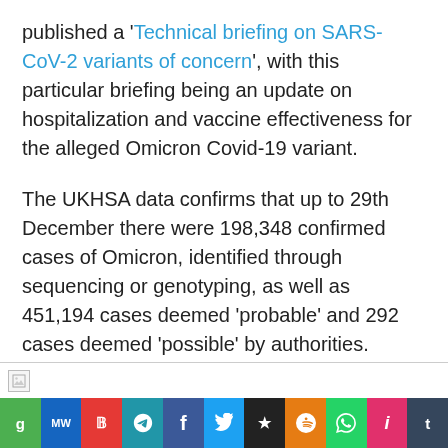published a 'Technical briefing on SARS-CoV-2 variants of concern', with this particular briefing being an update on hospitalization and vaccine effectiveness for the alleged Omicron Covid-19 variant.
The UKHSA data confirms that up to 29th December there were 198,348 confirmed cases of Omicron, identified through sequencing or genotyping, as well as 451,194 cases deemed 'probable' and 292 cases deemed 'possible' by authorities.
[Figure (other): Broken image placeholder icon]
[Figure (infographic): Social sharing bar with icons: g (green), MW (dark blue), P (red), Telegram (teal), Facebook (blue), Twitter (light blue), Digg/star (black), Reddit (orange), WhatsApp (green), Instagram (pink/red), Tumblr (dark)]